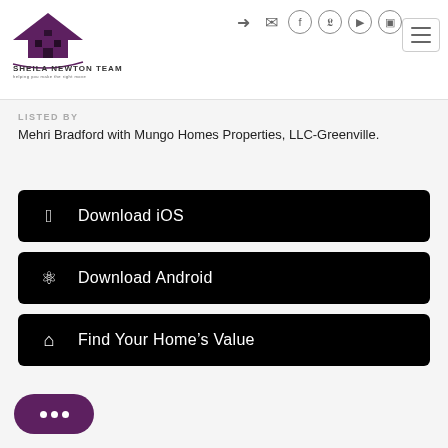Sheila Newton Team
LISTED BY
Mehri Bradford with Mungo Homes Properties, LLC-Greenville.
Download iOS
Download Android
Find Your Home's Value